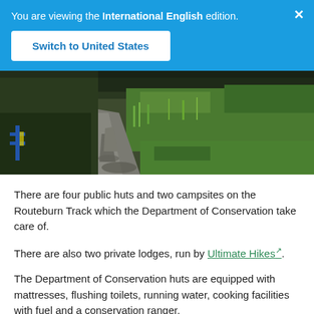You are viewing the International English edition.
Switch to United States
[Figure (photo): Outdoor photograph showing a gravel path/track with lush green grass and wetland vegetation on either side. A blue and yellow fence post is visible on the left. The scene appears to be on a walking track in New Zealand.]
There are four public huts and two campsites on the Routeburn Track which the Department of Conservation take care of.
There are also two private lodges, run by Ultimate Hikes.
The Department of Conservation huts are equipped with mattresses, flushing toilets, running water, cooking facilities with fuel and a conservation ranger.